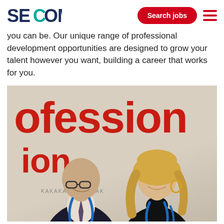SECOM | Search jobs
you can be. Our unique range of professional development opportunities are designed to grow your talent however you want, building a career that works for you.
[Figure (photo): Two people smiling and looking down at something together, both wearing SECOM lanyards with blue badges. A red text banner in the background reads 'ofession' (partial word 'Professional'). The man on the left is wearing glasses and a dark suit; the woman on the right has blonde hair and a black top.]